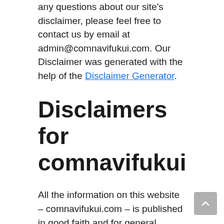any questions about our site's disclaimer, please feel free to contact us by email at admin@comnavifukui.com. Our Disclaimer was generated with the help of the Disclaimer Generator.
Disclaimers for comnavifukui
All the information on this website – comnavifukui.com – is published in good faith and for general information purpose only. comnavifukui does not make any warranties about the completeness, reliability and accuracy of this information. Any action you take upon the information you find on this website (comnavifukui), is